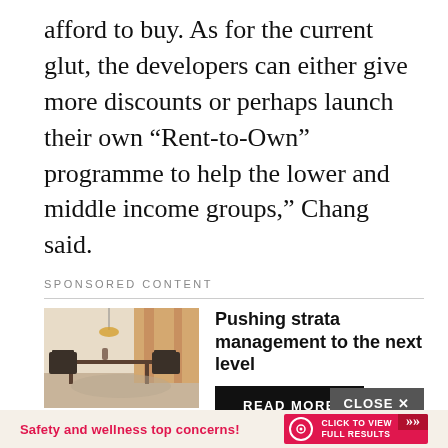afford to buy. As for the current glut, the developers can either give more discounts or perhaps launch their own “Rent-to-Own” programme to help the lower and middle income groups,” Chang said.
SPONSORED CONTENT
[Figure (photo): Interior photo of a modern living/dining room space with elegant furniture, warm lighting, and contemporary decor]
Pushing strata management to the next level
READ MORE
CLOSE ×
Safety and wellness top concerns!
CLICK TO VIEW FULL RESULTS